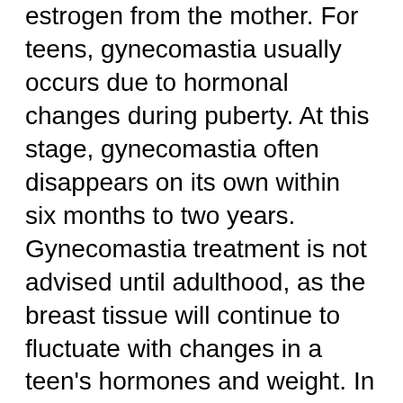estrogen from the mother. For teens, gynecomastia usually occurs due to hormonal changes during puberty. At this stage, gynecomastia often disappears on its own within six months to two years. Gynecomastia treatment is not advised until adulthood, as the breast tissue will continue to fluctuate with changes in a teen's hormones and weight. In adults, gynecomastia is generally caused by an underlying condition like liver cirrhosis, overactive thyroid, hormonal problems, or drug use.
Symptoms
Enlarged breast tissue is the primary symptom of gynecomastia. Young boys or teens may have breast buds that are the size of a quarter or nickel. Breast buds can occur on the left or right side of the chest. Sometimes, breast buds are noticeable on both sides of the chest. These are generally no cause for concern and will shrink down without medical intervention. In addition to noticeably larger breasts, men who suffer from gynecomastia may also find that their breast tissue feels